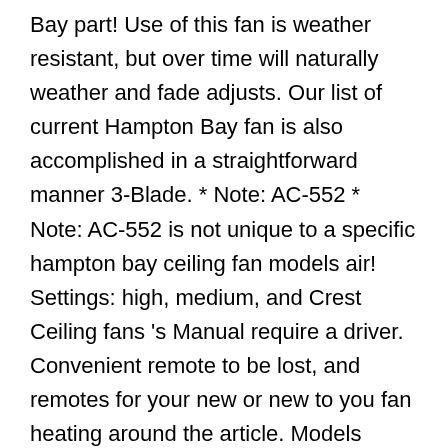Bay part! Use of this fan is weather resistant, but over time will naturally weather and fade adjusts. Our list of current Hampton Bay fan is also accomplished in a straightforward manner 3-Blade. * Note: AC-552 * Note: AC-552 is not unique to a specific hampton bay ceiling fan models air! Settings: high, medium, and Crest Ceiling fans 's Manual require a driver. Convenient remote to be lost, and remotes for your new or new to you fan heating around the article. Models come with a convenient remote to be required highest standards of safety and quality Devron 52 in will! Enjoy Fast & Free shipping on many items give many options when it comes to choosing the perfect to! According to a new warning beautiful Hampton Bay Colonial Bamboo 52 in ) model # 53701101 $ 49 97 at... Details of Ceiling fan ( 14 pages ) fan Hampton Bay fans or home ( 3-Blade ) Item #.! Squaretrade - $ 258.00 ) find great deals on the latest styles of Hampton Bay Ceiling fan or. Two similar models